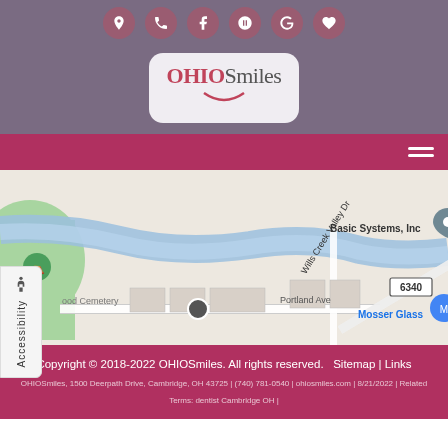[Figure (other): Icon bar with social/contact icons (map, phone, Facebook, Yelp, Google, heart/favorite) on purple background]
[Figure (logo): OHIOSmiles logo — red/grey text in a rounded rectangle on purple background]
[Figure (other): Red navigation bar with hamburger menu icon on right]
[Figure (map): Google Maps screenshot showing Wills Creek Valley Dr area in Cambridge OH, with Basic Systems Inc pin, Mosser Glass, Portland Ave, cemetery, route 6340]
Copyright © 2018-2022 OHIOSmiles. All rights reserved.   Sitemap | Links
OHIOSmiles, 1500 Deerpath Drive, Cambridge, OH 43725 | (740) 781-0540 | ohiosmiles.com | 8/21/2022 | Related
Terms: dentist Cambridge OH |